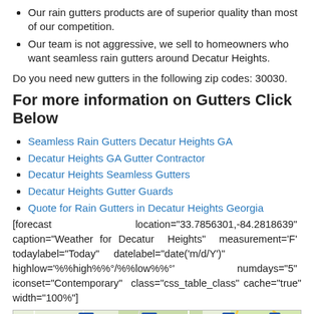Our rain gutters products are of superior quality than most of our competition.
Our team is not aggressive, we sell to homeowners who want seamless rain gutters around Decatur Heights.
Do you need new gutters in the following zip codes: 30030.
For more information on Gutters Click Below
Seamless Rain Gutters Decatur Heights GA
Decatur Heights GA Gutter Contractor
Decatur Heights Seamless Gutters
Decatur Heights Gutter Guards
Quote for Rain Gutters in Decatur Heights Georgia
[forecast location="33.7856301,-84.2818639" caption="Weather for Decatur Heights" measurement='F' todaylabel="Today" datelabel="date('m/d/Y')" highlow='%%high%%°/%%low%%°' numdays="5" iconset="Contemporary" class="css_table_class" cache="true" width="100%"]
[Figure (map): Map showing Decatur Heights Georgia area including Buckhead, North Druid Hills, Clarkston, Stone Mountain neighborhoods with roads and highway markers (41, 19, 85, 237, 236, 78, 29).]